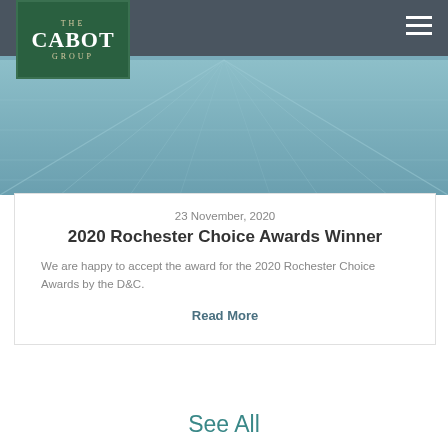The Cabot Group
[Figure (photo): Hero image showing a teal/blue wooden floor surface with perspective lines, overlaid with a dark gray navigation bar at top containing The Cabot Group logo and a hamburger menu icon]
23 November, 2020
2020 Rochester Choice Awards Winner
We are happy to accept the award for the 2020 Rochester Choice Awards by the D&C.
Read More
See All